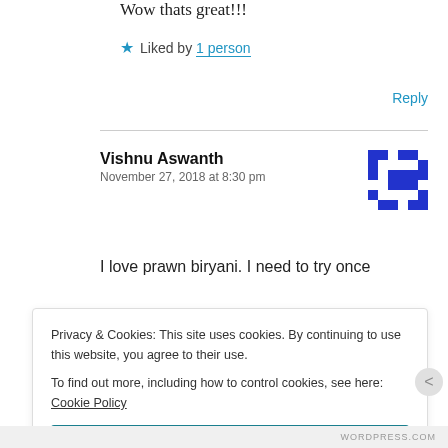Wow thats great!!!
★ Liked by 1 person
Reply
Vishnu Aswanth
November 27, 2018 at 8:30 pm
I love prawn biryani. I need to try once
Privacy & Cookies: This site uses cookies. By continuing to use this website, you agree to their use.
To find out more, including how to control cookies, see here: Cookie Policy
Close and accept